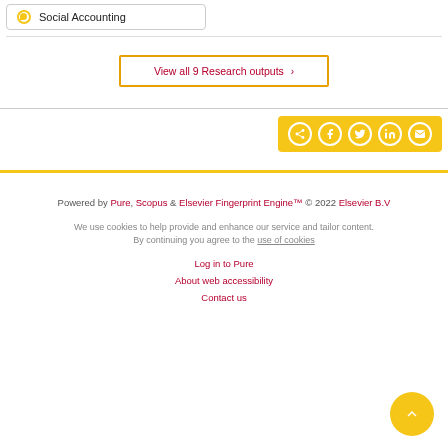Social Accounting
View all 9 Research outputs ›
[Figure (other): Social share bar with icons for share, Facebook, Twitter, LinkedIn, and email on a gold background]
Powered by Pure, Scopus & Elsevier Fingerprint Engine™ © 2022 Elsevier B.V

We use cookies to help provide and enhance our service and tailor content. By continuing you agree to the use of cookies

Log in to Pure

About web accessibility

Contact us